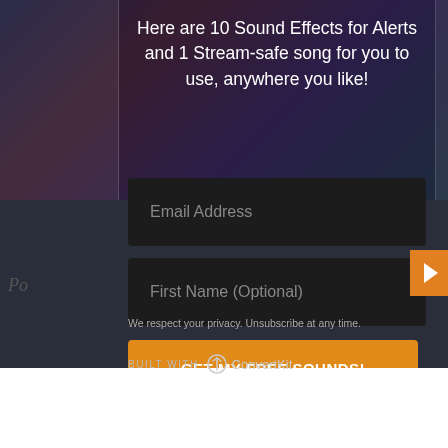Here are 10 Sound Effects for Alerts and 1 Stream-safe song for you to use, anywhere you like!
[Figure (screenshot): Email Address input field (dark background, placeholder text)]
[Figure (screenshot): First Name (Optional) input field (dark background, placeholder text)]
[Figure (screenshot): GET MY FREE SOUNDS! orange button]
We respect your privacy. Unsubscribe at any time.
BUILT WITH ConvertKit